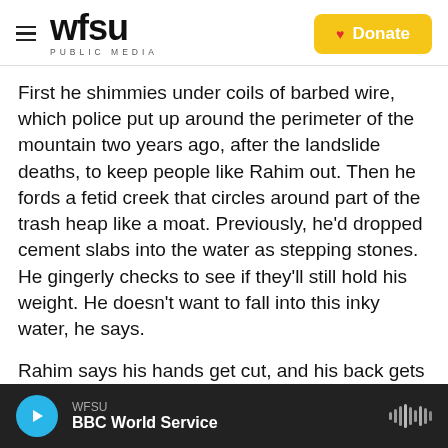WFSU PUBLIC MEDIA | Donate
First he shimmies under coils of barbed wire, which police put up around the perimeter of the mountain two years ago, after the landslide deaths, to keep people like Rahim out. Then he fords a fetid creek that circles around part of the trash heap like a moat. Previously, he'd dropped cement slabs into the water as stepping stones. He gingerly checks to see if they'll still hold his weight. He doesn't want to fall into this inky water, he says.
Rahim says his hands get cut, and his back gets scraped by the barbed wire. He gets shots regularly, to ward off infection
WFSU | BBC World Service